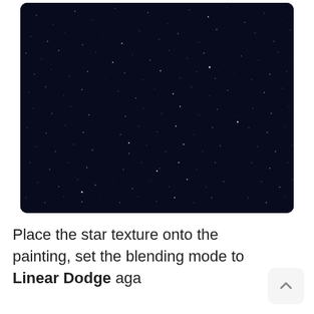[Figure (photo): A dark night sky photograph showing many small white stars scattered across a deep dark navy/black background, resembling a star texture used in digital painting.]
Place the star texture onto the painting, set the blending mode to Linear Dodge aga